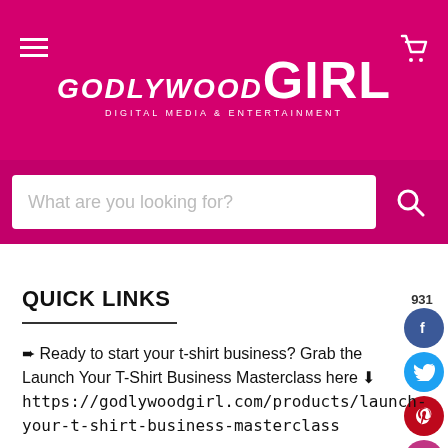GODLYWOOD GIRL — Digital Media & Entertainment
What are you looking for?
QUICK LINKS
➨ Ready to start your t-shirt business? Grab the Launch Your T-Shirt Business Masterclass here ⬇ https://godlywoodgirl.com/products/launch-your-t-shirt-business-masterclass